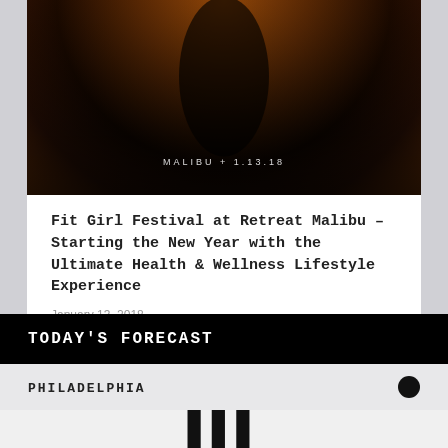[Figure (photo): Dark moody photo of a person silhouetted against a warm reddish-brown wooden background with text overlay reading MALIBU + 1.13.18]
Fit Girl Festival at Retreat Malibu – Starting the New Year with the Ultimate Health & Wellness Lifestyle Experience
January 13, 2018
SEARCH ...
TODAY'S FORECAST
PHILADELPHIA
[Figure (other): Partial weather temperature display showing large bold numerals, cropped at bottom of page]